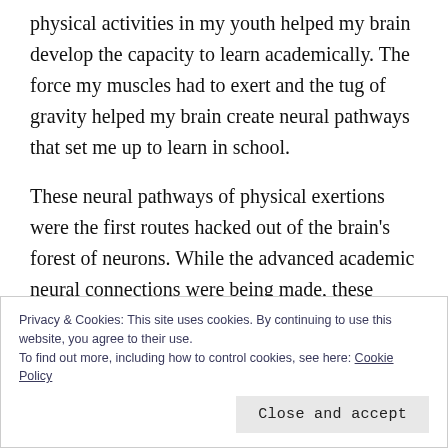physical activities in my youth helped my brain develop the capacity to learn academically. The force my muscles had to exert and the tug of gravity helped my brain create neural pathways that set me up to learn in school.
These neural pathways of physical exertions were the first routes hacked out of the brain's forest of neurons. While the advanced academic neural connections were being made, these routes were the ones that first carried the basics of mathematics and
Privacy & Cookies: This site uses cookies. By continuing to use this website, you agree to their use.
To find out more, including how to control cookies, see here: Cookie Policy